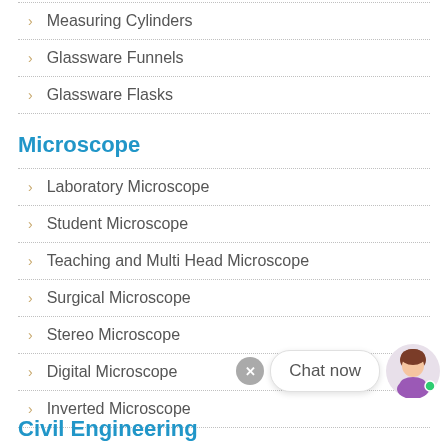Measuring Cylinders
Glassware Funnels
Glassware Flasks
Microscope
Laboratory Microscope
Student Microscope
Teaching and Multi Head Microscope
Surgical Microscope
Stereo Microscope
Digital Microscope
Inverted Microscope
Civil Engineering